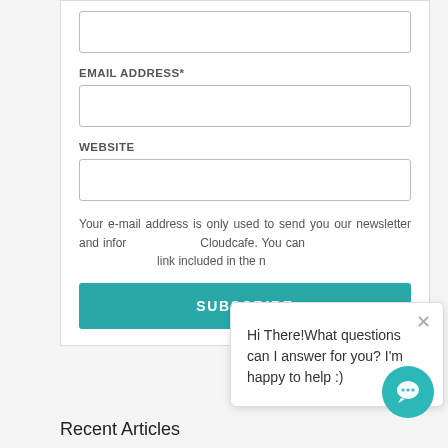[Figure (screenshot): Web form with fields for email address and website, subscribe button, and overlaying chat popup saying 'Hi There! What questions can I answer for you? I'm happy to help :)']
EMAIL ADDRESS*
WEBSITE
Your e-mail address is only used to send you our newsletter and infor... Cloudcafe. You can... link included in the n...
SUBSCRIBE
Hi There!What questions can I answer for you? I'm happy to help :)
Recent Articles